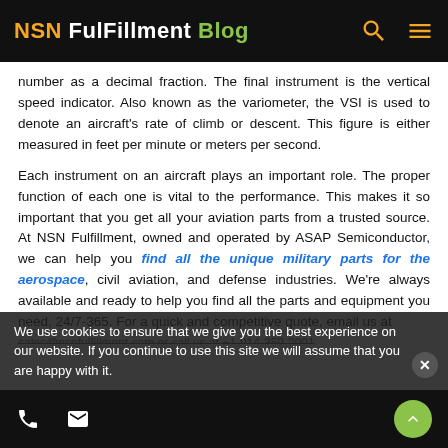NSN FulFillment Blog
number as a decimal fraction. The final instrument is the vertical speed indicator. Also known as the variometer, the VSI is used to denote an aircraft's rate of climb or descent. This figure is either measured in feet per minute or meters per second.
Each instrument on an aircraft plays an important role. The proper function of each one is vital to the performance. This makes it so important that you get all your aviation parts from a trusted source. At NSN Fulfillment, owned and operated by ASAP Semiconductor, we can help you find all the unique military parts for the aerospace, civil aviation, and defense industries. We're always available and ready to help you find all the parts and equipment you need, 24/7-365. For a quick and competitive quote, email us at sales@nsnfulfillment.com or call us at +1-914-359-2001
We use cookies to ensure that we give you the best experience on our website. If you continue to use this site we will assume that you are happy with it.
Phone and email contact icons